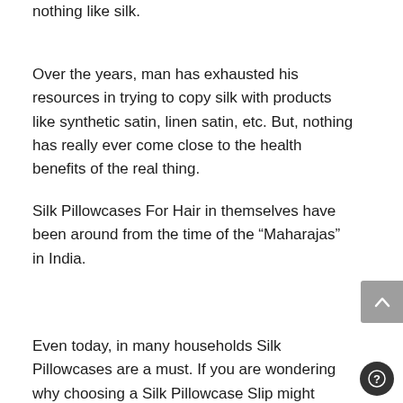nothing like silk.
Over the years, man has exhausted his resources in trying to copy silk with products like synthetic satin, linen satin, etc. But, nothing has really ever come close to the health benefits of the real thing.
Silk Pillowcases For Hair in themselves have been around from the time of the “Maharajas” in India.
Even today, in many households Silk Pillowcases are a must. If you are wondering why choosing a Silk Pillowcase Slip might benefit you, we are going to get you acquainted with top 7 Mulberry Silk Pillowcases benefits.